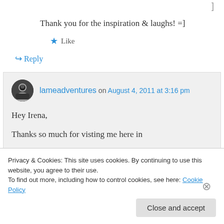Thank you for the inspiration & laughs! =]
★ Like
↪ Reply
lameadventures on August 4, 2011 at 3:16 pm
Hey Irena,
Thanks so much for visting me here in
Privacy & Cookies: This site uses cookies. By continuing to use this website, you agree to their use. To find out more, including how to control cookies, see here: Cookie Policy
Close and accept